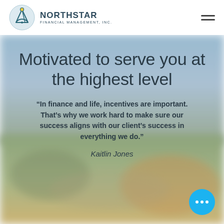[Figure (logo): Northstar Financial Management, Inc. logo — circular emblem with a sextant/navigation instrument in teal and gold, company name in bold dark blue-grey, tagline 'FINANCIAL MANAGEMENT, INC.' in small caps]
[Figure (photo): Blurred outdoor landscape background photo with sky, greenery, and muted warm tones, serving as hero section background]
Motivated to serve you at the highest level
“In finance and life, incentives are important. That’s why we work hard to make sure our success aligns with our client’s success in everything we do.”
Kaitlin Jones